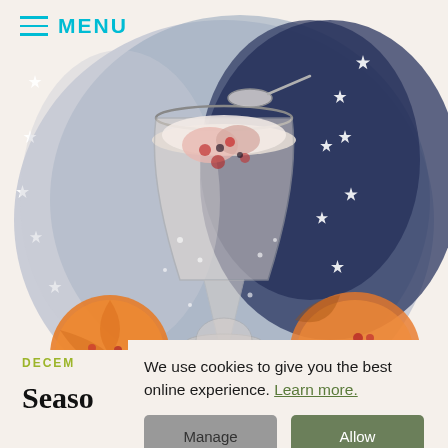≡ MENU
[Figure (illustration): Watercolor illustration of a dessert glass filled with cream and berries, surrounded by stars on a dark blue background, with oranges and pomegranate halves in the foreground]
We use cookies to give you the best online experience. Learn more.
Manage
Allow
DECEM
Seaso